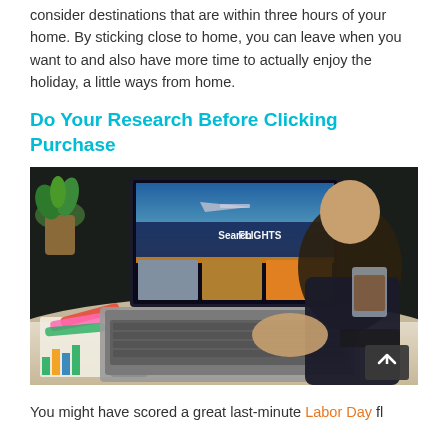consider destinations that are within three hours of your home. By sticking close to home, you can leave when you want to and also have more time to actually enjoy the holiday, a little ways from home.
Do Your Research Before Clicking Purchase
[Figure (photo): Person searching flights on a laptop at a desk with coffee, phone, glasses, highlighters, and a chart in the foreground. The laptop screen shows a travel booking site with 'Search FLIGHTS' displayed.]
You might have scored a great last-minute Labor Day fl